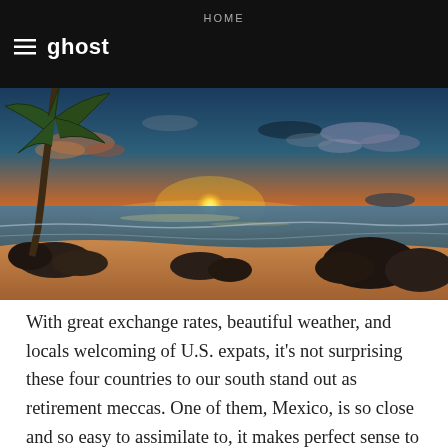HOME
[Figure (logo): Ghost logo with hamburger menu icon and 'ghost' text in white on black background]
[Figure (photo): Tropical beach sunset scene with a leaning palm tree on the left, orange and golden sky with clouds, calm ocean water, and dark volcanic rocks in the foreground]
With great exchange rates, beautiful weather, and locals welcoming of U.S. expats, it's not surprising these four countries to our south stand out as retirement meccas. One of them, Mexico, is so close and so easy to assimilate to, it makes perfect sense to shift your life and assets south of the border for the golden years. Slightly more exotic and further afield, Central